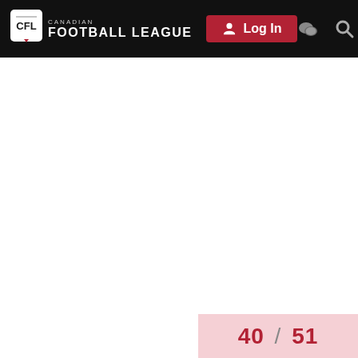CANADIAN FOOTBALL LEAGUE  Log In
40 / 51